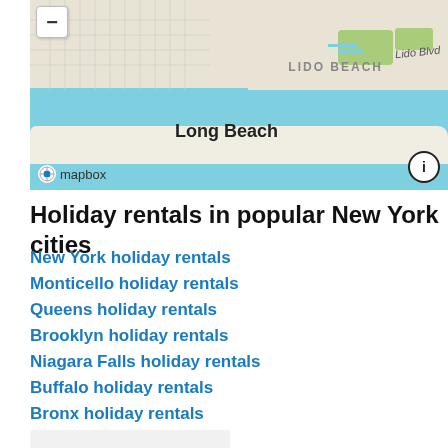[Figure (map): Street map showing Long Beach and Lido Beach area in New York, rendered via Mapbox. Shows coastal barrier island with water on both sides, street grid, green spaces, and labels for Long Beach and LIDO BEACH with Lido Blvd. Includes zoom out button and Mapbox attribution logo.]
Holiday rentals in popular New York cities
New York holiday rentals
Monticello holiday rentals
Queens holiday rentals
Brooklyn holiday rentals
Niagara Falls holiday rentals
Buffalo holiday rentals
Bronx holiday rentals
Rochester holiday rentals
Montauk holiday rentals
Lake George holiday rentals